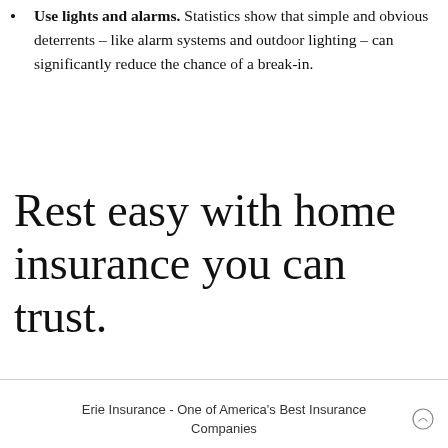Use lights and alarms. Statistics show that simple and obvious deterrents – like alarm systems and outdoor lighting – can significantly reduce the chance of a break-in.
Rest easy with home insurance you can trust.
Erie Insurance - One of America's Best Insurance Companies